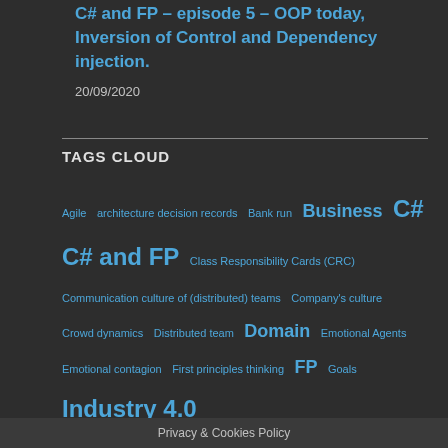C# and FP – episode 5 – OOP today, Inversion of Control and Dependency injection.
20/09/2020
TAGS CLOUD
Agile   architecture decision records   Bank run   Business   C#   C# and FP   Class Responsibility Cards (CRC)   Communication culture of (distributed) teams   Company's culture   Crowd dynamics   Distributed team   Domain   Emotional Agents   Emotional contagion   First principles thinking   FP   Goals   Industry 4.0   Leader   Management   Meetings   Method chaining   NetLogo   Object-oriented metr   of view   Programmer...
Privacy & Cookies Policy